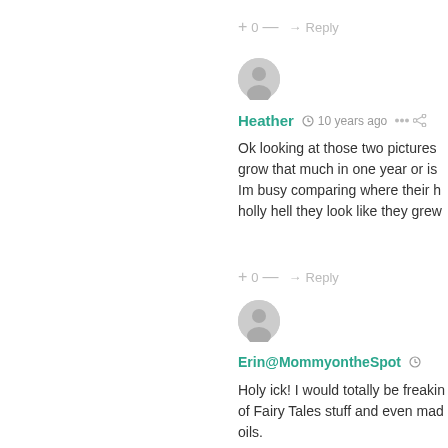+ 0 — → Reply
[Figure (illustration): Gray circular avatar icon with silhouette of person]
Heather  10 years ago  [share icon]
Ok looking at those two pictures grow that much in one year or is Im busy comparing where their h holly hell they look like they grew
+ 0 — → Reply
[Figure (illustration): Gray circular avatar icon with silhouette of person]
Erin@MommyontheSpot  [clock icon]
Holy ick! I would totally be freakin of Fairy Tales stuff and even mad oils.